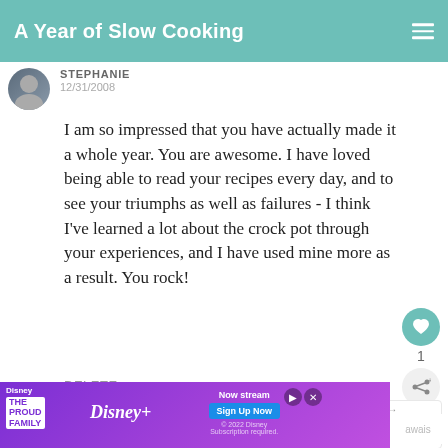A Year of Slow Cooking
STEPHANIE
12/31/2008
I am so impressed that you have actually made it a whole year. You are awesome. I have loved being able to read your recipes every day, and to see your triumphs as well as failures - I think I've learned a lot about the crock pot through your experiences, and I have used mine more as a result. You rock!
DELETE
WHAT'S NEXT → CrockPot Hamburger...
TRUCKSR4GURLS
[Figure (screenshot): Disney+ advertisement banner for The Proud Family with Sign Up Now button]